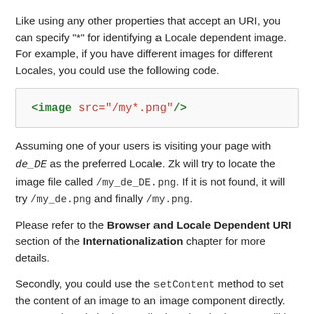Like using any other properties that accept an URI, you can specify "*" for identifying a Locale dependent image. For example, if you have different images for different Locales, you could use the following code.
[Figure (screenshot): Code box showing: <image src="/my*.png"/>]
Assuming one of your users is visiting your page with de_DE as the preferred Locale. Zk will try to locate the image file called /my_de_DE.png. If it is not found, it will try /my_de.png and finally /my.png.
Please refer to the Browser and Locale Dependent URI section of the Internationalization chapter for more details.
Secondly, you could use the setContent method to set the content of an image to an image component directly. Once assigned, the image displayed at the browser will be updated automatically. This approach is useful if an image is